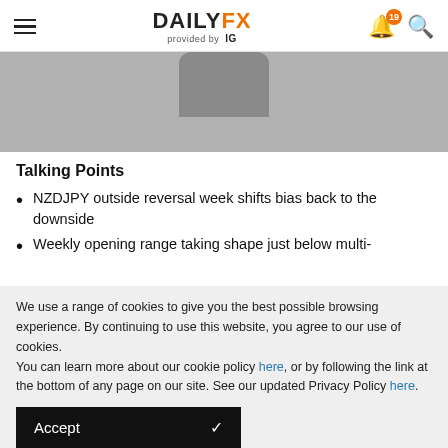DAILYFX provided by IG
[Figure (photo): Partial view of a device (phone or tablet) on grey background, cropped at top]
Talking Points
NZDJPY outside reversal week shifts bias back to the downside
Weekly opening range taking shape just below multi-
We use a range of cookies to give you the best possible browsing experience. By continuing to use this website, you agree to our use of cookies.
You can learn more about our cookie policy here, or by following the link at the bottom of any page on our site. See our updated Privacy Policy here.